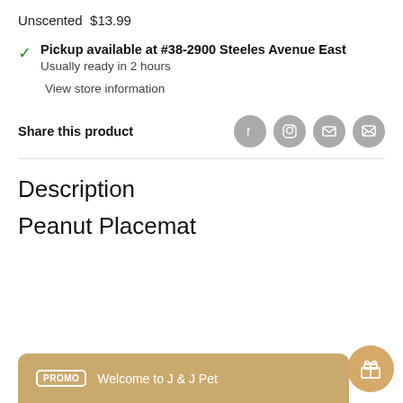Unscented  $13.99
Pickup available at #38-2900 Steeles Avenue East
Usually ready in 2 hours
View store information
Share this product
Description
Peanut Placemat
Steel Di
PROMO  Welcome to J & J Pet